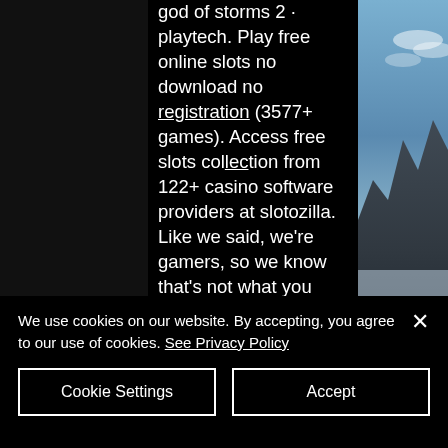god of storms 2 · playtech. Play free online slots no download no registration (3577+ games). Access free slots collection from 122+ casino software providers at slotozilla. Like we said, we're gamers, so we know that's not what you want. You want to play fun and free games online with no silly business. No download times and no. Top free slots casino games! download lotsa slots - free vegas casino slot machines now! play casino slots machines with game coin rounds and free spins. Play the best free mind games online with brain, math, puzzle and word games, sudokus and memory games. Riot games presents valorant: a 5v5
[Figure (photo): Mountain landscape photograph on the right side with blue sky, clouds, and rocky mountain peaks with mist]
We use cookies on our website. By accepting, you agree to our use of cookies. See Privacy Policy
Cookie Settings
Accept